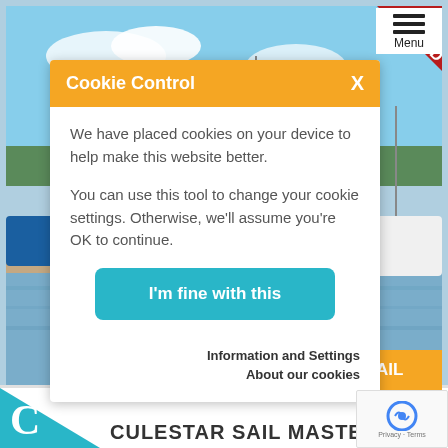[Figure (photo): Marina with sailboats and motorboats docked in calm water, with blue sky and trees in background. A red 'SOLD' ribbon is shown in the top-right corner of the photo.]
Cookie Control X
We have placed cookies on your device to help make this website better.

You can use this tool to change your cookie settings. Otherwise, we'll assume you're OK to continue.
I'm fine with this
Information and Settings
About our cookies
EMAIL
CULESTAR SAILMASTER